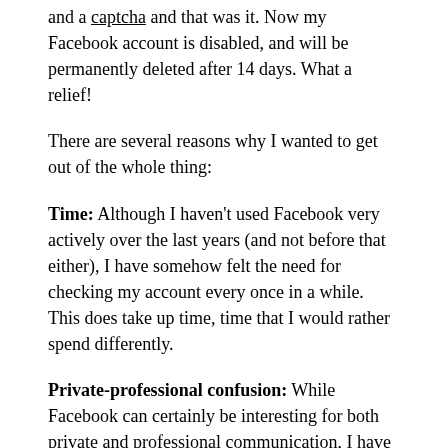and a captcha and that was it. Now my Facebook account is disabled, and will be permanently deleted after 14 days. What a relief!
There are several reasons why I wanted to get out of the whole thing:
Time: Although I haven't used Facebook very actively over the last years (and not before that either), I have somehow felt the need for checking my account every once in a while. This does take up time, time that I would rather spend differently.
Private-professional confusion: While Facebook can certainly be interesting for both private and professional communication, I have become increasingly aware of the challenges with such a semi-open communication channel. The addition of multiple levels of friends, groups, networks, etc., a